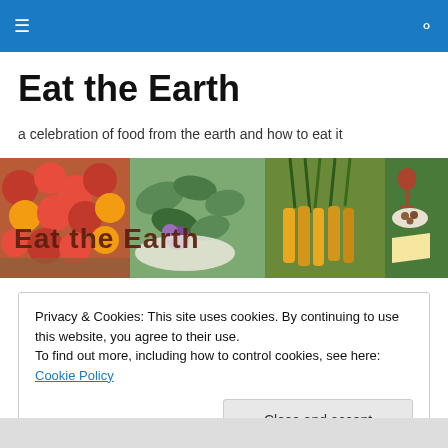Navigation header bar with hamburger menu and search icon
Eat the Earth
a celebration of food from the earth and how to eat it
[Figure (photo): Banner image collage showing fruits, vegetables, herbs, carrots, and a cheese board with wine, overlaid with the text 'Eat the Earth']
Privacy & Cookies: This site uses cookies. By continuing to use this website, you agree to their use.
To find out more, including how to control cookies, see here: Cookie Policy
[Close and accept button]